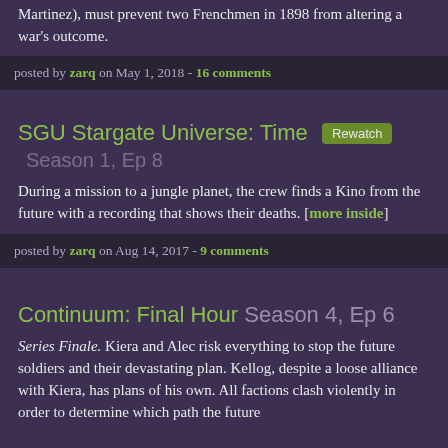Martinez), must prevent two Frenchmen in 1898 from altering a war's outcome.
posted by zarq on May 1, 2018 - 16 comments
SGU Stargate Universe: Time Rewatch Season 1, Ep 8
During a mission to a jungle planet, the crew finds a Kino from the future with a recording that shows their deaths. [more inside]
posted by zarq on Aug 14, 2017 - 9 comments
Continuum: Final Hour Season 4, Ep 6
Series Finale. Kiera and Alec risk everything to stop the future soldiers and their devastating plan. Kellog, despite a loose alliance with Kiera, has plans of his own. All factions clash violently in order to determine which path the future